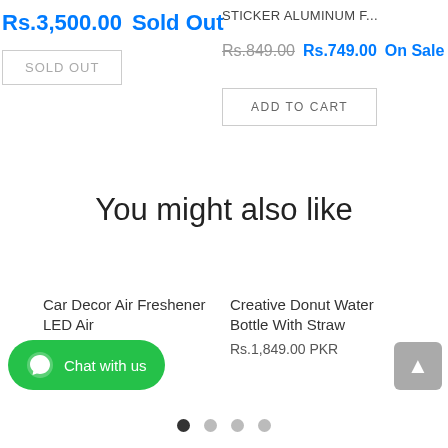Rs.3,500.00  Sold Out
SOLD OUT
STICKER ALUMINUM F...
Rs.849.00  Rs.749.00  On Sale
ADD TO CART
You might also like
Car Decor Air Freshener LED Air
Rs.650.00 PKR
Creative Donut Water Bottle With Straw
Rs.1,849.00 PKR
Chat with us